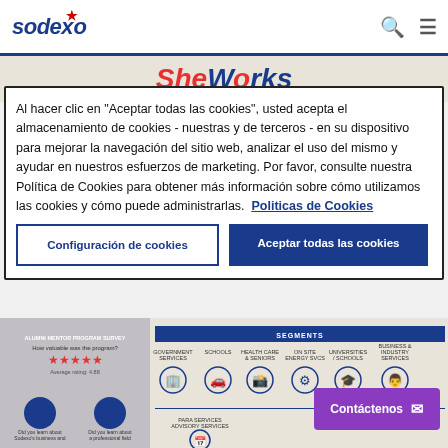[Figure (screenshot): Sodexo website navigation bar with logo, search icon, and hamburger menu]
SheWorks
Al hacer clic en "Aceptar todas las cookies", usted acepta el almacenamiento de cookies - nuestras y de terceros - en su dispositivo para mejorar la navegación del sitio web, analizar el uso del mismo y ayudar en nuestros esfuerzos de marketing. Por favor, consulte nuestra Política de Cookies para obtener más información sobre cómo utilizamos las cookies y cómo puede administrarlas.  Politicas de Cookies
Configuración de cookies
Aceptar todas las cookies
[Figure (infographic): SheWorks infographic showing segments including Government Services, Schools, Health Care, On-site Services, Universities/Schools, and Business Services with icons]
Contáctenos